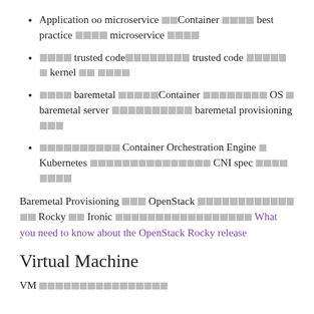Application oo microservice ⬛⬛Container oooo best practice oooo microservice oooo
oooo trusted codeoooooooo trusted code oooooo kernel oo oooo
oooo baremetal ooooContainer oooooooo OS o baremetal server oooooooooo baremetal provisioning ooo
oooooooooo Container Orchestration Engine o Kubernetes oooooooooooooo CNI spec oooooooo
Baremetal Provisioning ooo OpenStack ooooooooooooo Rocky oo Ironic oooooooooooooooo What you need to know about the OpenStack Rocky release
Virtual Machine
VM oooooooooooooo